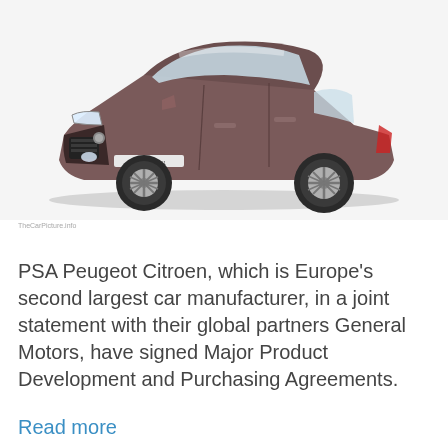[Figure (photo): A dark brown/mauve Peugeot 301 sedan car photographed from a front-left angle on a white background]
TheCarPicture.info
PSA Peugeot Citroen, which is Europe's second largest car manufacturer, in a joint statement with their global partners General Motors, have signed Major Product Development and Purchasing Agreements.
Read more